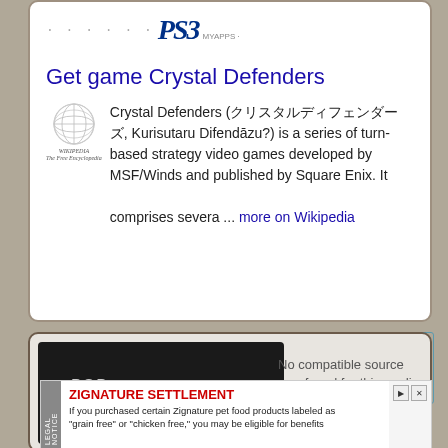[Figure (logo): PS3 logo with dot-matrix styling]
Get game Crystal Defenders
[Figure (logo): Wikipedia globe logo with Wikipedia label]
Crystal Defenders (クリスタルディフェンダーズ, Kurisutaru Difendāzu?) is a series of turn-based strategy video games developed by MSF/Winds and published by Square Enix. It comprises severa ... more on Wikipedia
[Figure (screenshot): PSP game video thumbnail showing Only On PlayStation text with No compatible source was found for this media overlay]
ZIGNATURE SETTLEMENT
If you purchased certain Zignature pet food products labeled as "grain free" or "chicken free," you may be eligible for benefits